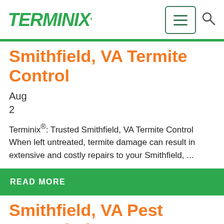TERMINIX.
Smithfield, VA Termite Control
Aug
2
Terminix®: Trusted Smithfield, VA Termite Control When left untreated, termite damage can result in extensive and costly repairs to your Smithfield, ...
READ MORE
Smithfield, VA Pest Control Plans